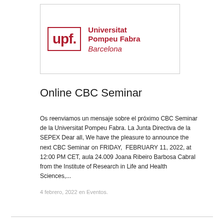[Figure (logo): Universitat Pompeu Fabra Barcelona logo with UPF text in red border and university name in red.]
Online CBC Seminar
Os reenviamos un mensaje sobre el próximo CBC Seminar de la Universitat Pompeu Fabra. La Junta Directiva de la SEPEX Dear all, We have the pleasure to announce the next CBC Seminar on FRIDAY,  FEBRUARY 11, 2022, at 12:00 PM CET, aula 24.009 Joana Ribeiro Barbosa Cabral from the Institute of Research in Life and Health Sciences,...
4 febrero, 2022 en Eventos.